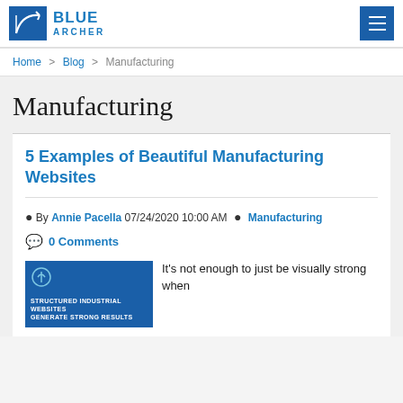[Figure (logo): Blue Archer logo with stylized archer icon and text BLUE ARCHER]
Home > Blog > Manufacturing
Manufacturing
5 Examples of Beautiful Manufacturing Websites
By Annie Pacella 07/24/2020 10:00 AM  Manufacturing
0 Comments
[Figure (illustration): Blue banner image with text: STRUCTURED INDUSTRIAL WEBSITES GENERATE STRONG RESULTS with an icon]
It's not enough to just be visually strong when